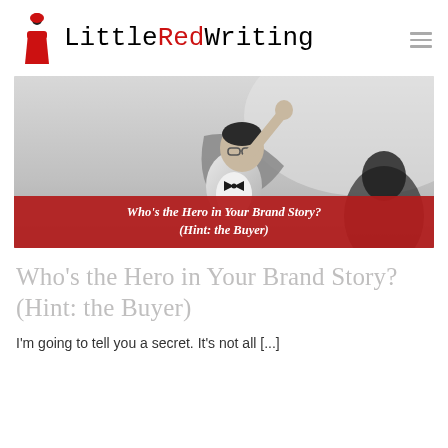Little Red Writing
[Figure (photo): Black and white photo of a child dressed as a superhero with arm raised, wearing a cape and glasses, with a text overlay bar reading: Who's the Hero in Your Brand Story? (Hint: the Buyer)]
Who's the Hero in Your Brand Story? (Hint: the Buyer)
I'm going to tell you a secret. It's not all [...]